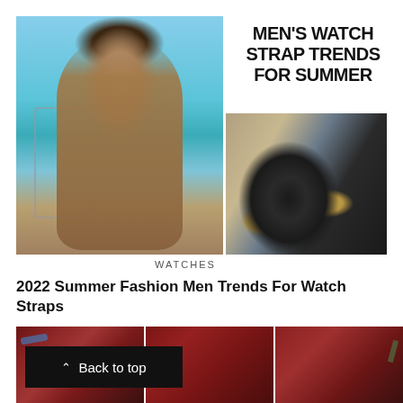[Figure (photo): Composite image: left side shows a man in a beige knit cardigan standing near a boat railing with the ocean in the background; right side shows a luxury sports watch with black case and tan/gold accents with black rubber strap on a wooden dock]
MEN'S WATCH STRAP TRENDS FOR SUMMER
WATCHES
2022 Summer Fashion Men Trends For Watch Straps
[Figure (photo): Three side-by-side photos of men's dress shoes in burgundy/oxblood leather, including wingtip oxfords with colorful laces]
Back to top